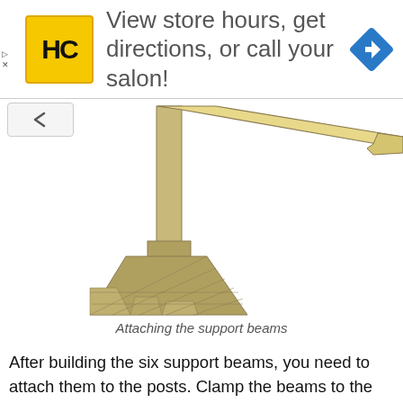[Figure (screenshot): Advertisement banner for a hair salon locator service (HC logo, text 'View store hours, get directions, or call your salon!', navigation icon)]
[Figure (illustration): 3D illustration of pergola support beams being attached to posts, showing two wooden posts with a diagonal beam connecting them at the top, set on a paved surface]
Attaching the support beams
After building the six support beams, you need to attach them to the posts. Clamp the beams to the top of the posts, after making sure they are perfectly horizontal. Leave 12” on both sides of the pergola, so that the beams could be centered to the structure. Drill pilot holes through the beams and through the posts. Afterwards, insert 7"